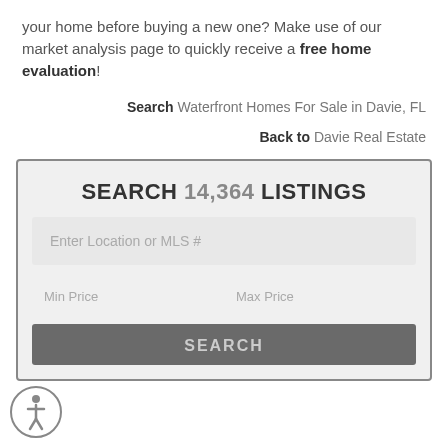your home before buying a new one? Make use of our market analysis page to quickly receive a free home evaluation!
Search Waterfront Homes For Sale in Davie, FL
Back to Davie Real Estate
SEARCH 14,364 LISTINGS
Enter Location or MLS #
Min Price
Max Price
SEARCH